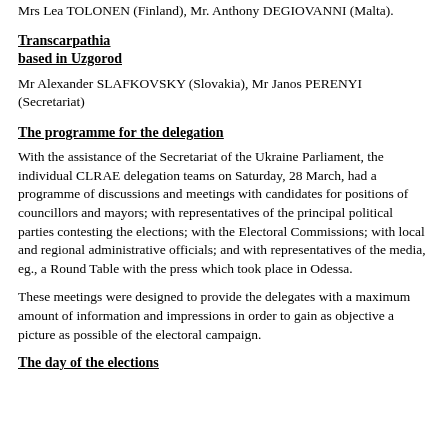Mrs Lea TOLONEN (Finland), Mr. Anthony DEGIOVANNI (Malta).
Transcarpathia based in Uzgorod
Mr Alexander SLAFKOVSKY (Slovakia), Mr Janos PERENYI (Secretariat)
The programme for the delegation
With the assistance of the Secretariat of the Ukraine Parliament, the individual CLRAE delegation teams on Saturday, 28 March, had a programme of discussions and meetings with candidates for positions of councillors and mayors; with representatives of the principal political parties contesting the elections; with the Electoral Commissions; with local and regional administrative officials; and with representatives of the media, eg., a Round Table with the press which took place in Odessa.
These meetings were designed to provide the delegates with a maximum amount of information and impressions in order to gain as objective a picture as possible of the electoral campaign.
The day of the elections